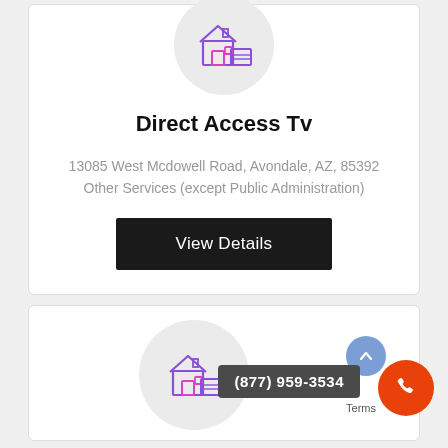[Figure (illustration): House/building icon in purple and pink inside a light gray circle]
Direct Access Tv
13085 West Mcdowell Road, Avondale, AZ, 85392
Other Services (except Public Administration)
View Details
[Figure (illustration): Second house/building icon in purple and pink inside a light gray circle, partially visible at bottom]
(877) 959-3534